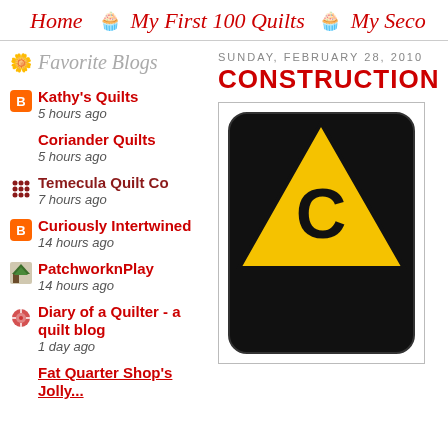Home | My First 100 Quilts | My Seco...
Favorite Blogs
Kathy's Quilts — 5 hours ago
Coriander Quilts — 5 hours ago
Temecula Quilt Co — 7 hours ago
Curiously Intertwined — 14 hours ago
PatchworknPlay — 14 hours ago
Diary of a Quilter - a quilt blog — 1 day ago
Fat Quarter Shop's Jolly...
SUNDAY, FEBRUARY 28, 2010
CONSTRUCTION Z
[Figure (photo): Yellow and black construction warning sign, partially visible, on white background]